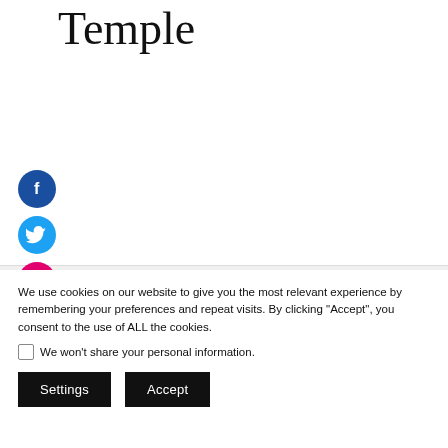Temple
[Figure (illustration): Three social media icon buttons stacked vertically on the left side: Facebook (dark blue circle with f icon), Twitter (light blue circle with bird icon), Instagram (pink/magenta circle with camera icon)]
We use cookies on our website to give you the most relevant experience by remembering your preferences and repeat visits. By clicking “Accept”, you consent to the use of ALL the cookies.
We won’t share your personal information.
Settings   Accept